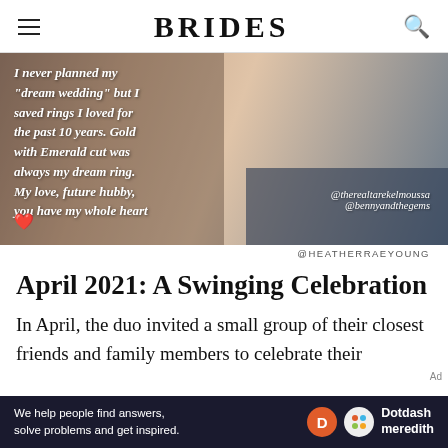BRIDES
[Figure (photo): Close-up photo of a hand/wrist with overlaid italic white text reading: I never planned my "dream wedding" but I saved rings I loved for the past 10 years. Gold with Emerald cut was always my dream ring. My love, future hubby, you have my whole heart ❤️. Instagram tags @therealtarekelmoussa and @bennyandthegems visible bottom right.]
@HEATHERRAEYOUNG
April 2021: A Swinging Celebration
In April, the duo invited a small group of their closest friends and family members to celebrate their
[Figure (screenshot): Ad banner with dark navy background. Text: 'We help people find answers, solve problems and get inspired.' Dotdash meredith logo on the right with orange D circle and colorful dots circle.]